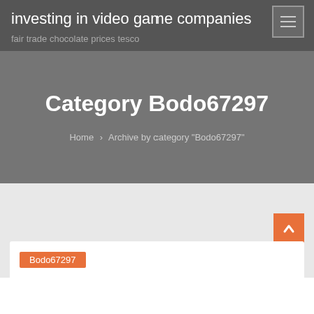investing in video game companies
fair trade chocolate prices tesco
Category Bodo67297
Home › Archive by category "Bodo67297"
Bodo67297